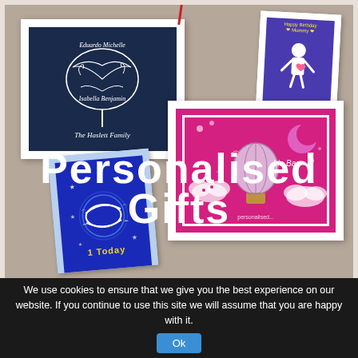[Figure (illustration): Promotional image for personalised gifts on a taupe/beige background. Shows four framed paper-cut art pieces: a dark blue family tree frame labeled 'The Haslett Family' with names Eduardo, Michelle, Isabella, Benjamin; a purple frame with a figure and 'Happy Birthday' text; a bright pink/magenta frame with hot air balloon and clouds scene labeled 'Lia Baa'; and a dark blue card with a pisces fish symbol labeled '1 Today'. Large white handwritten-style text reads 'Personalised Gifts' across the lower portion.]
We use cookies to ensure that we give you the best experience on our website. If you continue to use this site we will assume that you are happy with it.